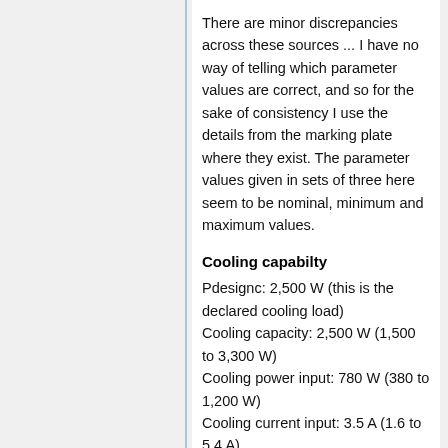There are minor discrepancies across these sources ... I have no way of telling which parameter values are correct, and so for the sake of consistency I use the details from the marking plate where they exist. The parameter values given in sets of three here seem to be nominal, minimum and maximum values.
Cooling capabilty
Pdesignc: 2,500 W (this is the declared cooling load)
Cooling capacity: 2,500 W (1,500 to 3,300 W)
Cooling power input: 780 W (380 to 1,200 W)
Cooling current input: 3.5 A (1.6 to 5.4 A)
Heating capability
Pdesignh(A) 2,600 W (this is the declared heating load - it should be the